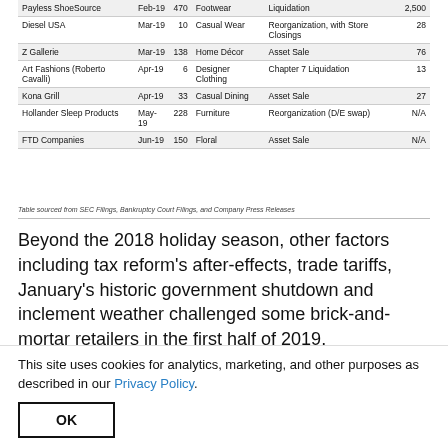| Company | Date Filed | # of Stores | Sector | Resolution Type | Affected Employees |
| --- | --- | --- | --- | --- | --- |
| Payless ShoeSource | Feb-19 | 470 | Footwear | Liquidation | 2,500 |
| Diesel USA | Mar-19 | 10 | Casual Wear | Reorganization, with Store Closings | 28 |
| Z Gallerie | Mar-19 | 138 | Home Décor | Asset Sale | 76 |
| Art Fashions (Roberto Cavalli) | Apr-19 | 6 | Designer Clothing | Chapter 7 Liquidation | 13 |
| Kona Grill | Apr-19 | 33 | Casual Dining | Asset Sale | 27 |
| Hollander Sleep Products | May-19 | 228 | Furniture | Reorganization (D/E swap) | N/A |
| FTD Companies | Jun-19 | 150 | Floral | Asset Sale | N/A |
Table sourced from SEC Filings, Bankruptcy Court Filings, and Company Press Releases
Beyond the 2018 holiday season, other factors including tax reform's after-effects, trade tariffs, January's historic government shutdown and inclement weather challenged some brick-and-mortar retailers in the first half of 2019.
Specifically, the average taxpayer saw a 2.7% decrease in their tax...
This site uses cookies for analytics, marketing, and other purposes as described in our Privacy Policy.